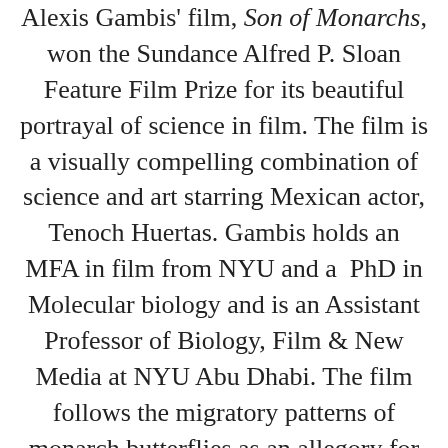Alexis Gambis' film, Son of Monarchs, won the Sundance Alfred P. Sloan Feature Film Prize for its beautiful portrayal of science in film. The film is a visually compelling combination of science and art starring Mexican actor, Tenoch Huertas. Gambis holds an MFA in film from NYU and a PhD in Molecular biology and is an Assistant Professor of Biology, Film & New Media at NYU Abu Dhabi. The film follows the migratory patterns of monarch butterflies as an allegory for an immigrant's journey. Read more about the riveting story of Son of Monarchs and Alexis Gambis here.